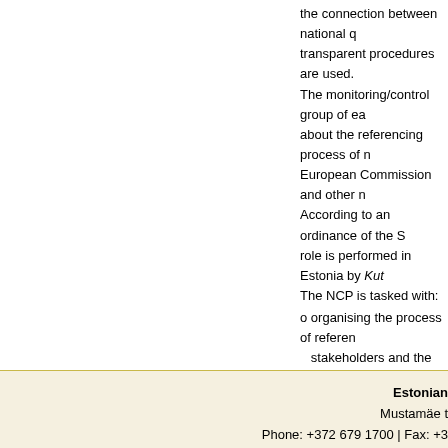the connection between national q transparent procedures are used. The monitoring/control group of ea about the referencing process of n European Commission and other n According to an ordinance of the S role is performed in Estonia by Kut The NCP is tasked with:
o organising the process of referen stakeholders and the transparen
o implementing principles ensuring
o informing all stakeholders and th the EQF levels and development
o participating in the activities of th
See also:
Estonian referencing report 2015
Estonian Mustamäe t Phone: +372 679 1700 | Fax: +3 M